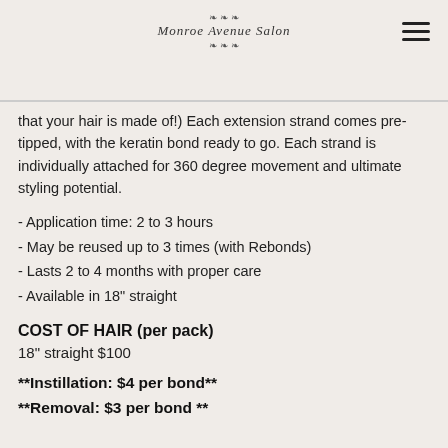Monroe Avenue Salon
that your hair is made of!) Each extension strand comes pre-tipped, with the keratin bond ready to go. Each strand is individually attached for 360 degree movement and ultimate styling potential.
- Application time: 2 to 3 hours
- May be reused up to 3 times (with Rebonds)
- Lasts 2 to 4 months with proper care
- Available in 18" straight
COST OF HAIR (per pack)
18" straight $100
**Instillation: $4 per bond**
**Removal: $3 per bond **